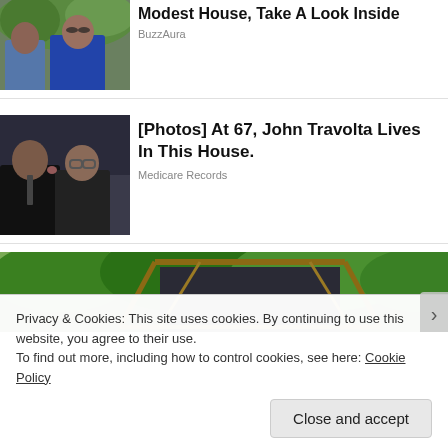[Figure (photo): Partial photo of a couple, man in blue shirt and woman in blue dress, outdoors with greenery]
Modest House, Take A Look Inside
BuzzAura
[Figure (photo): Two men in formal wear, one kissing the other on the cheek]
[Photos] At 67, John Travolta Lives In This House.
Medicare Records
[Figure (photo): Outdoor garden scene with wooden structure and dark tarp, surrounded by green foliage]
Privacy & Cookies: This site uses cookies. By continuing to use this website, you agree to their use.
To find out more, including how to control cookies, see here: Cookie Policy
Close and accept